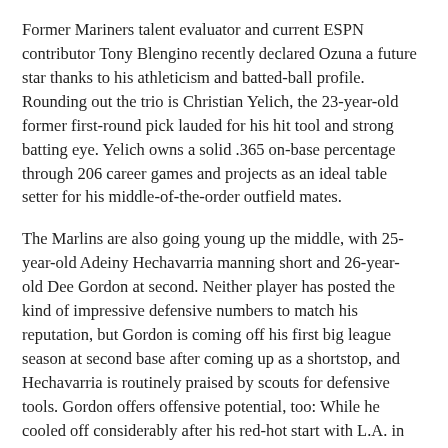Former Mariners talent evaluator and current ESPN contributor Tony Blengino recently declared Ozuna a future star thanks to his athleticism and batted-ball profile. Rounding out the trio is Christian Yelich, the 23-year-old former first-round pick lauded for his hit tool and strong batting eye. Yelich owns a solid .365 on-base percentage through 206 career games and projects as an ideal table setter for his middle-of-the-order outfield mates.
The Marlins are also going young up the middle, with 25-year-old Adeiny Hechavarria manning short and 26-year-old Dee Gordon at second. Neither player has posted the kind of impressive defensive numbers to match his reputation, but Gordon is coming off his first big league season at second base after coming up as a shortstop, and Hechavarria is routinely praised by scouts for defensive tools. Gordon offers offensive potential, too: While he cooled off considerably after his red-hot start with L.A. in 2014, he has learned how to use his speed to his advantage, hitting fewer balls in the air last year than ever before and swiping an MLB-best 64 bases.⁷